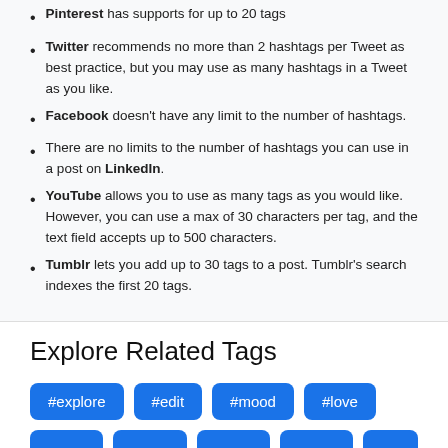Pinterest has supports for up to 20 tags
Twitter recommends no more than 2 hashtags per Tweet as best practice, but you may use as many hashtags in a Tweet as you like.
Facebook doesn't have any limit to the number of hashtags.
There are no limits to the number of hashtags you can use in a post on LinkedIn.
YouTube allows you to use as many tags as you would like. However, you can use a max of 30 characters per tag, and the text field accepts up to 500 characters.
Tumblr lets you add up to 30 tags to a post. Tumblr's search indexes the first 20 tags.
Explore Related Tags
#explore #edit #mood #love